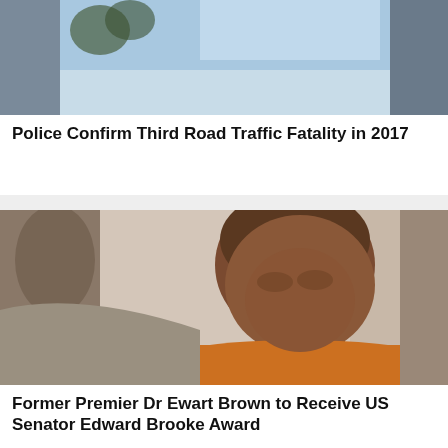[Figure (photo): Partial view of a room with curtains and blue sky visible through a window, top of image cropped]
Police Confirm Third Road Traffic Fatality in 2017
[Figure (photo): Portrait photo of Former Premier Dr Ewart Brown, a middle-aged Black man wearing an orange polo shirt and grey blazer, smiling and looking upward, seated indoors]
Former Premier Dr Ewart Brown to Receive US Senator Edward Brooke Award